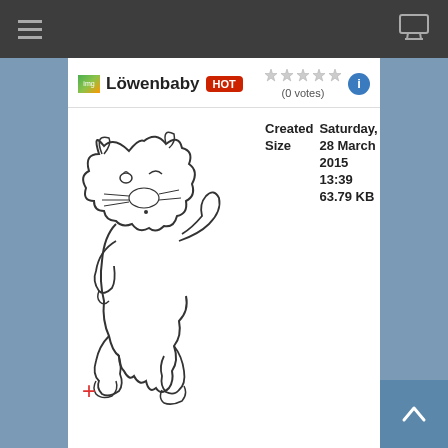Löwenbaby HOT (0 votes)
[Figure (illustration): Line drawing of a cute lion cub (Löwenbaby) in a simple outline style, standing on hind legs with a fluffy mane, whiskers, and a curled tail. A red crosshair/plus symbol appears in the lower left of the drawing area.]
Created Saturday, 28 March 2015 13:39
Size 63.79 KB